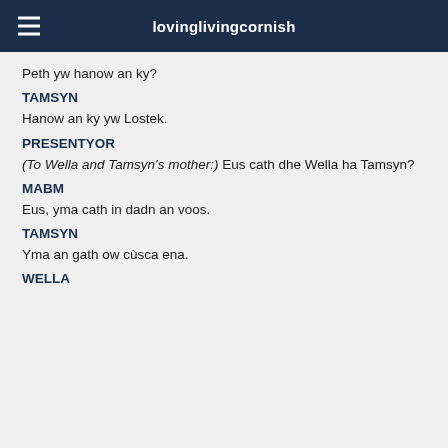lovinglivingcornish
Peth yw hanow an ky?
TAMSYN
Hanow an ky yw Lostek.
PRESENTYOR
(To Wella and Tamsyn's mother:) Eus cath dhe Wella ha Tamsyn?
MABM
Eus, yma cath in dadn an voos.
TAMSYN
Yma an gath ow cùsca ena.
WELLA